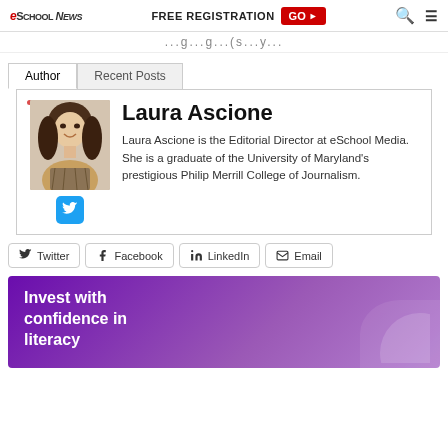eSchool News | FREE REGISTRATION GO ▶
...g...g...(s...y...
Author | Recent Posts
Laura Ascione
Laura Ascione is the Editorial Director at eSchool Media. She is a graduate of the University of Maryland's prestigious Philip Merrill College of Journalism.
[Figure (photo): Portrait photo of Laura Ascione, a woman with long brown hair, smiling, wearing a patterned jacket]
Twitter
Facebook
LinkedIn
Email
[Figure (photo): Purple/violet advertisement banner with white bold text reading 'Invest with confidence in literacy']